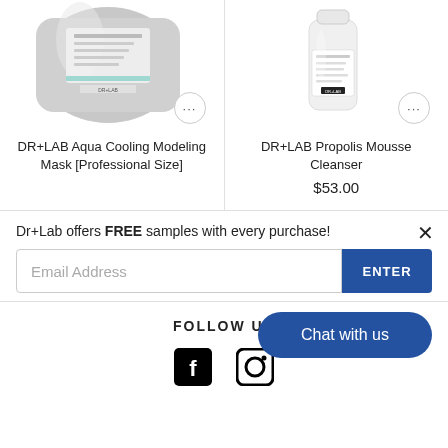[Figure (photo): DR+LAB Aqua Cooling Modeling Mask Professional Size product image - silver foil bag]
DR+LAB Aqua Cooling Modeling Mask [Professional Size]
[Figure (photo): DR+LAB Propolis Mousse Cleanser product image - white bottle]
DR+LAB Propolis Mousse Cleanser
$53.00
Dr+Lab offers FREE samples with every purchase!
Email Address
ENTER
FOLLOW US
Chat with us